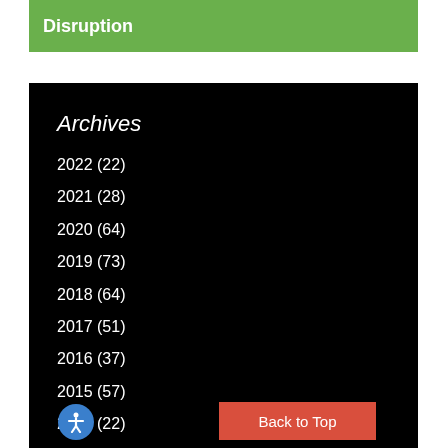Disruption
Archives
2022 (22)
2021 (28)
2020 (64)
2019 (73)
2018 (64)
2017 (51)
2016 (37)
2015 (57)
2014 (22)
Back to Top